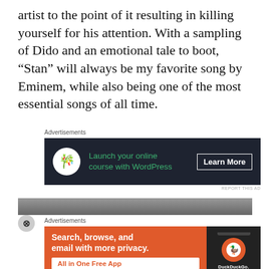artist to the point of it resulting in killing yourself for his attention. With a sampling of Dido and an emotional tale to boot, “Stan” will always be my favorite song by Eminem, while also being one of the most essential songs of all time.
[Figure (other): Advertisement banner with dark background showing a bonsai tree icon, text 'Launch your online course with WordPress' in green, and 'Learn More' button]
[Figure (other): Gray banner advertisement with close button (X)]
[Figure (other): DuckDuckGo advertisement with orange background: 'Search, browse, and email with more privacy. All in One Free App' with phone mockup showing DuckDuckGo logo]